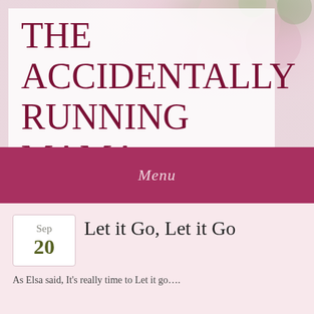[Figure (photo): Header banner with floral/bokeh background photo behind white semi-transparent overlay containing the site title]
THE ACCIDENTALLY RUNNING MAMA
Menu
Sep
20
Let it Go, Let it Go
As Elsa said, It's really time to Let it go….